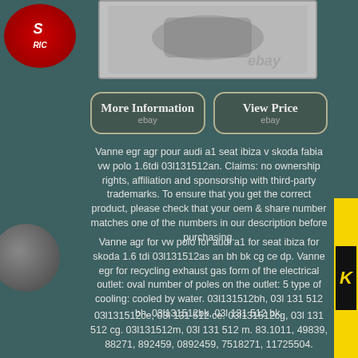[Figure (photo): Product photo of an EGR valve part with ebay watermark]
[Figure (other): More Information button linking to ebay]
[Figure (other): View Price button linking to ebay]
Vanne egr agr pour audi a1 seat ibiza v skoda fabia vw polo 1.6tdi 03l131512an. Claims: no ownership rights, affiliation and sponsorship with third-party trademarks. To ensure that you get the correct product, please check that your oem & share number matches one of the numbers in our description before purchasing.
Vanne agr for vw polo for audi a1 for seat ibiza for skoda 1.6 tdi 03l131512as an bh bk cg ce dp. Vanne egr for recycling exhaust gas form of the electrical outlet: oval number of poles on the outlet: 5 type of cooling: cooled by water. 03l131512bh, 03l 131 512 bh. 03l131512bk, 03l 131 512 bk.
03l131512ce, 03l 131 512 ce. 03l131512cg, 03l 131 512 cg. 03l131512m, 03l 131 512 m. 83.1011, 49839, 88271, 892459, 0892459, 7518271, 11725504.